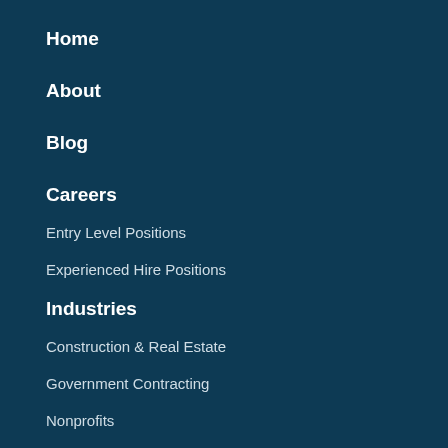Home
About
Blog
Careers
Entry Level Positions
Experienced Hire Positions
Industries
Construction & Real Estate
Government Contracting
Nonprofits
Professional Services
Services